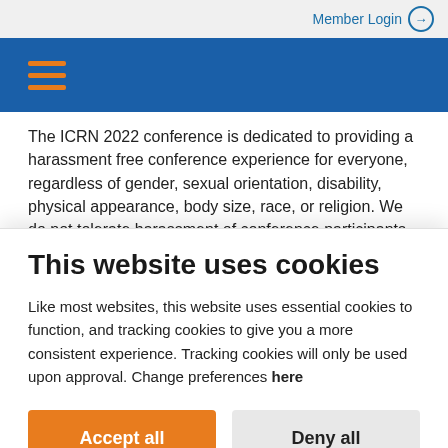Member Login →
[Figure (other): Blue navigation bar with orange hamburger menu icon (three horizontal orange lines)]
The ICRN 2022 conference is dedicated to providing a harassment free conference experience for everyone, regardless of gender, sexual orientation, disability, physical appearance, body size, race, or religion. We do not tolerate harassment of conference participants in
This website uses cookies
Like most websites, this website uses essential cookies to function, and tracking cookies to give you a more consistent experience. Tracking cookies will only be used upon approval. Change preferences here
Accept all
Deny all